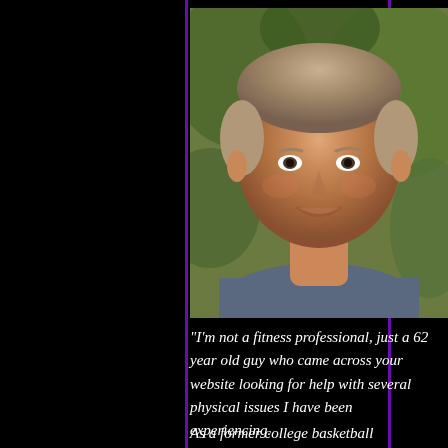[Figure (photo): Headshot of an older man with gray-blonde hair, smiling, wearing a blue-gray shirt, with green foliage in the background]
"I'm not a fitness professional, just a 62 year old guy who came across your website looking for help with several physical issues I have been experiencing.
As a former college basketball